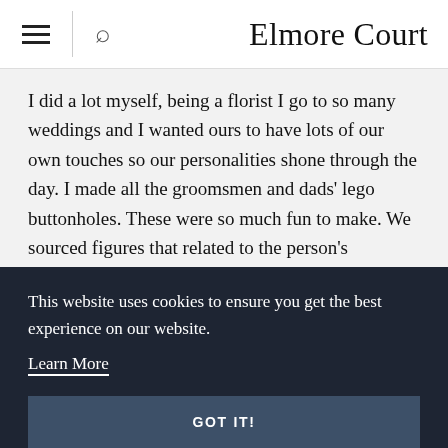Elmore Court
I did a lot myself, being a florist I go to so many weddings and I wanted ours to have lots of our own touches so our personalities shone through the day. I made all the groomsmen and dads' lego buttonholes. These were so much fun to make. We sourced figures that related to the person's personality or something they had done or were called, we wanted them to be a bit of fun.
We made our own photo booth. I bought a frame from
This website uses cookies to ensure you get the best experience on our website.
Learn More
GOT IT!